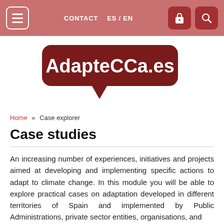CONTACT  ES / EN
[Figure (logo): AdapteCCa.es logo — dark red speech bubble shape with white bold text 'AdapteCCa.es']
Home » Case explorer
Case studies
An increasing number of experiences, initiatives and projects aimed at developing and implementing specific actions to adapt to climate change. In this module you will be able to explore practical cases on adaptation developed in different territories of Spain and implemented by Public Administrations, private sector entities, organisations, and